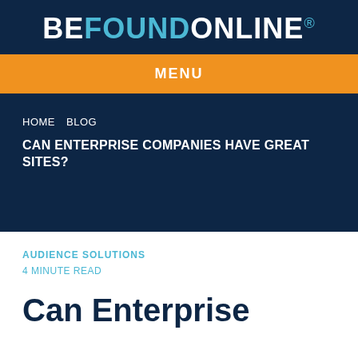BEFOUNDONLINE®
MENU
HOME   BLOG
CAN ENTERPRISE COMPANIES HAVE GREAT SITES?
AUDIENCE SOLUTIONS
4 MINUTE READ
Can Enterprise